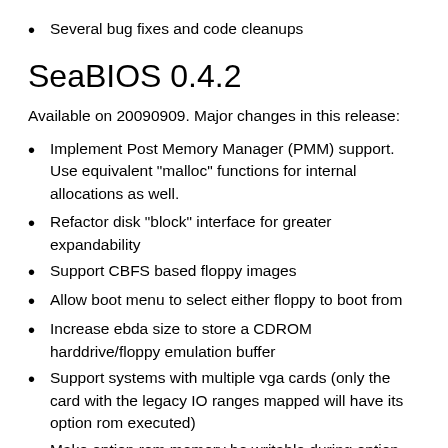Several bug fixes and code cleanups
SeaBIOS 0.4.2
Available on 20090909. Major changes in this release:
Implement Post Memory Manager (PMM) support. Use equivalent "malloc" functions for internal allocations as well.
Refactor disk "block" interface for greater expandability
Support CBFS based floppy images
Allow boot menu to select either floppy to boot from
Increase ebda size to store a CDROM harddrive/floppy emulation buffer
Support systems with multiple vga cards (only the card with the legacy IO ranges mapped will have its option rom executed)
Make option rom memory be writable during option rom execution (on emulators)